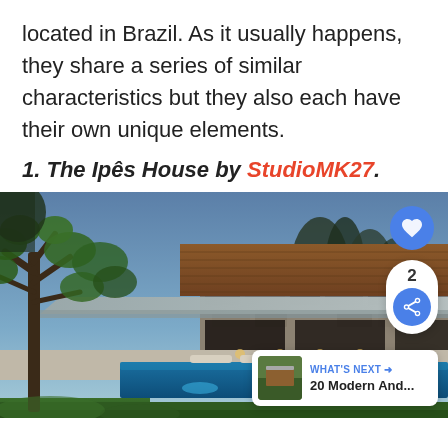located in Brazil. As it usually happens, they share a series of similar characteristics but they also each have their own unique elements.
1. The Ipês House by StudioMK27.
[Figure (photo): Evening exterior photograph of the Ipês House by StudioMK27 — a modern home with a cantilevered concrete roof, warm wood cladding, stone walls, an illuminated pool, and tropical trees in the foreground, with a blue dusk sky.]